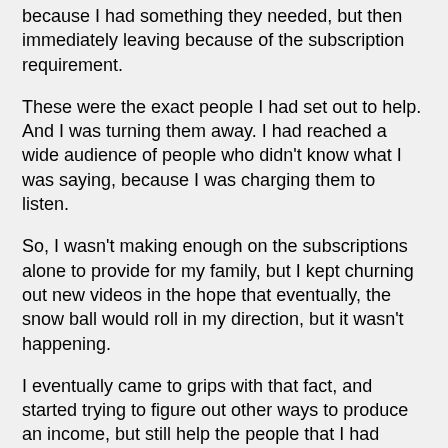because I had something they needed, but then immediately leaving because of the subscription requirement.
These were the exact people I had set out to help. And I was turning them away. I had reached a wide audience of people who didn't know what I was saying, because I was charging them to listen.
So, I wasn't making enough on the subscriptions alone to provide for my family, but I kept churning out new videos in the hope that eventually, the snow ball would roll in my direction, but it wasn't happening.
I eventually came to grips with that fact, and started trying to figure out other ways to produce an income, but still help the people that I had originally set out to help. I knew if I just got another job, I'd stop making videos. Because they take time. A LOT of time. You see this evidenced all over the web. YouTube is littered with Drupal tutorials teaching you how to do this or that, but there are rarely more than a handful done by any one individual. And, because video production, and teaching are not generally their areas of expertise, the quality is widely varying (to put it nicely.)